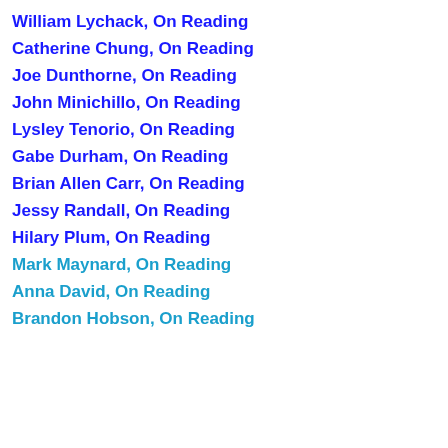William Lychack, On Reading
Catherine Chung, On Reading
Joe Dunthorne, On Reading
John Minichillo, On Reading
Lysley Tenorio, On Reading
Gabe Durham, On Reading
Brian Allen Carr, On Reading
Jessy Randall, On Reading
Hilary Plum, On Reading
Mark Maynard, On Reading
Anna David, On Reading
Brandon Hobson, On Reading